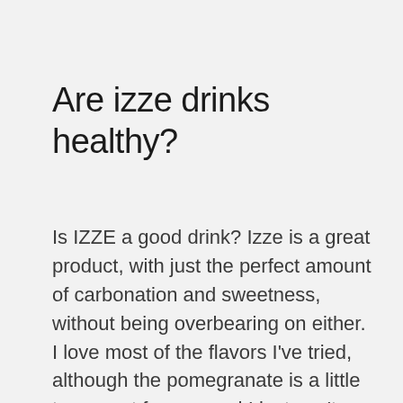Are izze drinks healthy?
Is IZZE a good drink? Izze is a great product, with just the perfect amount of carbonation and sweetness, without being overbearing on either. I love most of the flavors I've tried, although the pomegranate is a little too sweet for me, and I just can't drink the grapefruit. Do IZZE drinks have added